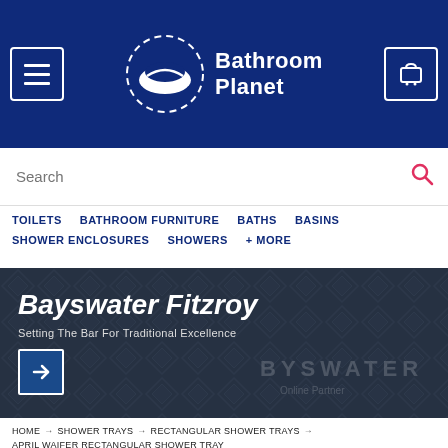[Figure (logo): Bathroom Planet logo with circular basin icon and white text on dark navy background, with hamburger menu and cart icons]
Search
TOILETS  BATHROOM FURNITURE  BATHS  BASINS  SHOWER ENCLOSURES  SHOWERS  + MORE
[Figure (photo): Bayswater Fitzroy promotional banner with dark diamond-pattern background. Text: Bayswater Fitzroy – Setting The Bar For Traditional Excellence. Arrow button and BYSWATER Online Partner watermark.]
HOME → SHOWER TRAYS → RECTANGULAR SHOWER TRAYS → APRIL WAIFER RECTANGULAR SHOWER TRAY